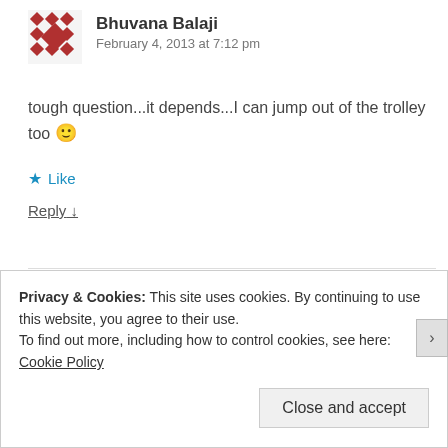[Figure (illustration): User avatar for Bhuvana Balaji — decorative geometric pattern in brown/red tones]
Bhuvana Balaji
February 4, 2013 at 7:12 pm
tough question...it depends...I can jump out of the trolley too 🙂
★ Like
Reply ↓
[Figure (illustration): User avatar for Srini C — Om symbol in mandala/sun style, red and pink tones]
Srini C
February 6, 2013 at 12:18 pm
Privacy & Cookies: This site uses cookies. By continuing to use this website, you agree to their use.
To find out more, including how to control cookies, see here: Cookie Policy
Close and accept